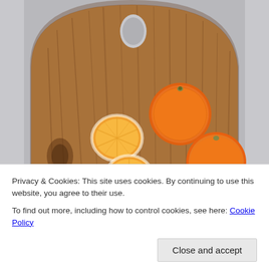[Figure (photo): A round wooden cutting board with a hang hole at the top, placed on a white cloth background. On the board are three mandarin oranges/clementines: two whole with orange peels, and one peeled apart into two halves showing the segments.]
Privacy & Cookies: This site uses cookies. By continuing to use this website, you agree to their use.
To find out more, including how to control cookies, see here: Cookie Policy
Close and accept